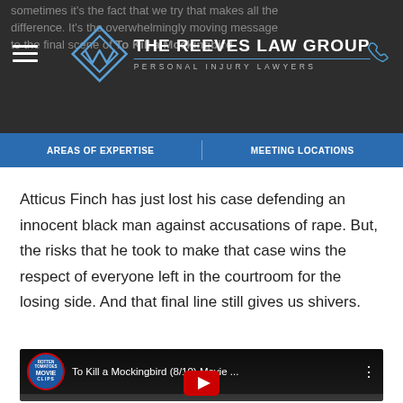sometimes it's the fact that we try that makes all the difference. It's the overwhelmingly moving message to the final scene of To Kill a Mockingbird
[Figure (logo): The Reeves Law Group logo with diamond shape and text 'THE REEVES LAW GROUP - PERSONAL INJURY LAWYERS']
AREAS OF EXPERTISE | MEETING LOCATIONS
Atticus Finch has just lost his case defending an innocent black man against accusations of rape. But, the risks that he took to make that case wins the respect of everyone left in the courtroom for the losing side. And that final line still gives us shivers.
[Figure (screenshot): YouTube video thumbnail for 'To Kill a Mockingbird (8/10) Movie ...' with Rotten Tomatoes Movie Clips badge and play button, showing black and white courtroom balcony scene]